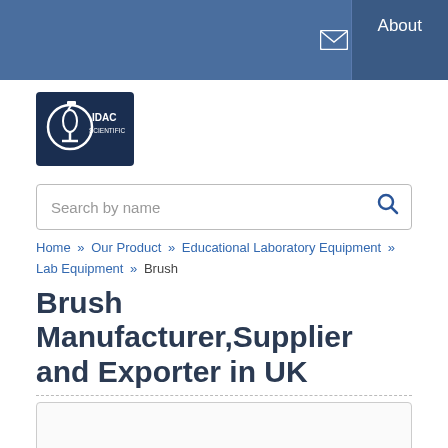About
[Figure (logo): IDAC Scientific logo — white microscope icon on dark navy background with text IDAC SCIENTIFIC]
Search by name
Home » Our Product » Educational Laboratory Equipment » Lab Equipment » Brush
Brush Manufacturer,Supplier and Exporter in UK